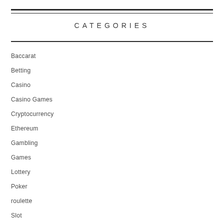CATEGORIES
Baccarat
Betting
Casino
Casino Games
Cryptocurrency
Ethereum
Gambling
Games
Lottery
Poker
roulette
Slot